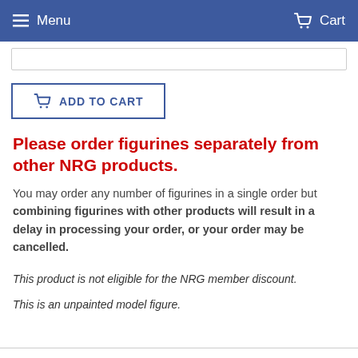Menu   Cart
ADD TO CART
Please order figurines separately from other NRG products.
You may order any number of figurines in a single order but combining figurines with other products will result in a delay in processing your order, or your order may be cancelled.
This product is not eligible for the NRG member discount.
This is an unpainted model figure.